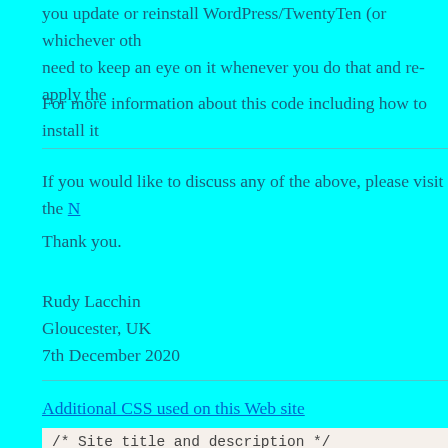you update or reinstall WordPress/TwentyTen (or whichever oth need to keep an eye on it whenever you do that and re-apply the
For more information about this code including how to install it
If you would like to discuss any of the above, please visit the N
Thank you.
Rudy Lacchin
Gloucester, UK
7th December 2020
Additional CSS used on this Web site
/* Site title and description */